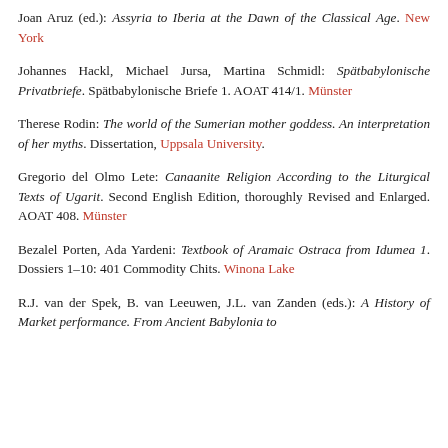Joan Aruz (ed.): Assyria to Iberia at the Dawn of the Classical Age. New York
Johannes Hackl, Michael Jursa, Martina Schmidl: Spätbabylonische Privatbriefe. Spätbabylonische Briefe 1. AOAT 414/1. Münster
Therese Rodin: The world of the Sumerian mother goddess. An interpretation of her myths. Dissertation, Uppsala University.
Gregorio del Olmo Lete: Canaanite Religion According to the Liturgical Texts of Ugarit. Second English Edition, thoroughly Revised and Enlarged. AOAT 408. Münster
Bezalel Porten, Ada Yardeni: Textbook of Aramaic Ostraca from Idumea 1. Dossiers 1–10: 401 Commodity Chits. Winona Lake
R.J. van der Spek, B. van Leeuwen, J.L. van Zanden (eds.): A History of Market performance. From Ancient Babylonia to